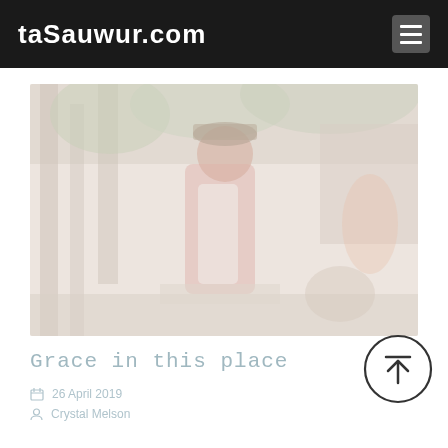taSauwur.com
[Figure (photo): A person wearing a red outfit in a forest or outdoor wooded setting, carrying items. The image is very faded/washed out with light tones.]
Grace in this place
26 April 2019
Crystal Melson